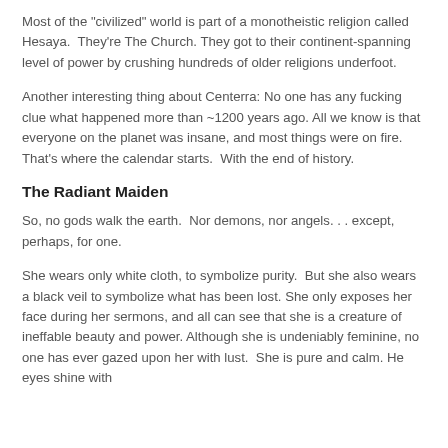Most of the "civilized" world is part of a monotheistic religion called Hesaya.  They're The Church. They got to their continent-spanning level of power by crushing hundreds of older religions underfoot.
Another interesting thing about Centerra: No one has any fucking clue what happened more than ~1200 years ago. All we know is that everyone on the planet was insane, and most things were on fire. That's where the calendar starts.  With the end of history.
The Radiant Maiden
So, no gods walk the earth.  Nor demons, nor angels. . . except, perhaps, for one.
She wears only white cloth, to symbolize purity.  But she also wears a black veil to symbolize what has been lost. She only exposes her face during her sermons, and all can see that she is a creature of ineffable beauty and power. Although she is undeniably feminine, no one has ever gazed upon her with lust.  She is pure and calm. He eyes shine with